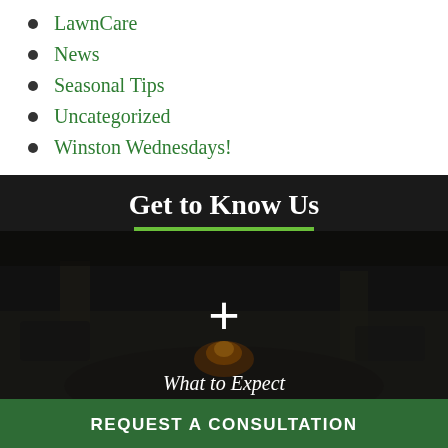LawnCare
News
Seasonal Tips
Uncategorized
Winston Wednesdays!
Get to Know Us
[Figure (photo): Dark outdoor patio scene with fire pit at night, seating area visible, with a large plus (+) icon overlay and partial text 'What to Expect' at the bottom]
REQUEST A CONSULTATION